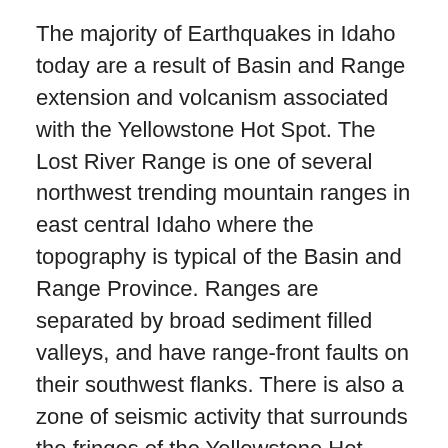The majority of Earthquakes in Idaho today are a result of Basin and Range extension and volcanism associated with the Yellowstone Hot Spot. The Lost River Range is one of several northwest trending mountain ranges in east central Idaho where the topography is typical of the Basin and Range Province. Ranges are separated by broad sediment filled valleys, and have range-front faults on their southwest flanks. There is also a zone of seismic activity that surrounds the fringes of the Yellowstone Hot Spot track, which for Idaho is another major cause for earthquakes. Notice though that right in the path of the hot spot that there is basically no earthquake activity at all.
Earthquakes occur when the internal forces of Earth are out of balance with those at its surface, sometimes resulting in surface ruptures and ground movement. These imbalances occur in many geological settings that result from the movement of plates over the Earth's surface. The